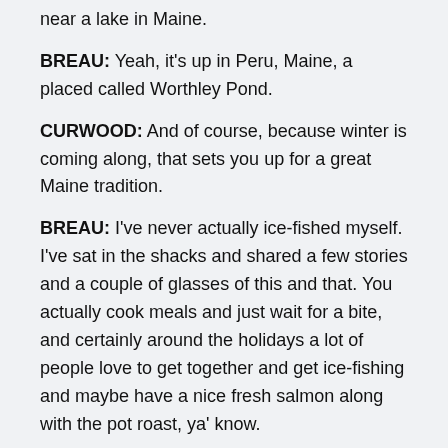near a lake in Maine.
BREAU: Yeah, it's up in Peru, Maine, a placed called Worthley Pond.
CURWOOD: And of course, because winter is coming along, that sets you up for a great Maine tradition.
BREAU: I've never actually ice-fished myself. I've sat in the shacks and shared a few stories and a couple of glasses of this and that. You actually cook meals and just wait for a bite, and certainly around the holidays a lot of people love to get together and get ice-fishing and maybe have a nice fresh salmon along with the pot roast, ya' know.
So anyway, this next song is called “Ice-Fishing.” I kind of wrote it to poke fun at Mainers a little bit and their garb and the tradition itself and just all of the fun aspects of ice